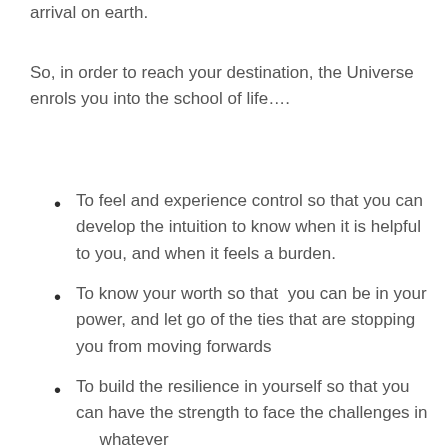arrival on earth.
So, in order to reach your destination, the Universe enrols you into the school of life….
To feel and experience control so that you can develop the intuition to know when it is helpful to you, and when it feels a burden.
To know your worth so that you can be in your power, and let go of the ties that are stopping you from moving forwards
To build the resilience in yourself so that you can have the strength to face the challenges in whatever